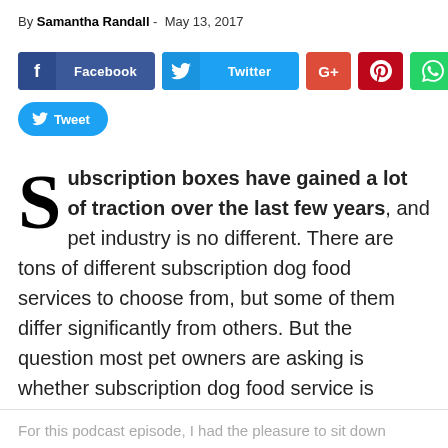By Samantha Randall - May 13, 2017
[Figure (infographic): Social media share buttons: Facebook, Twitter, G+, Pinterest, WhatsApp, and a Tweet button]
Subscription boxes have gained a lot of traction over the last few years, and pet industry is no different. There are tons of different subscription dog food services to choose from, but some of them differ significantly from others. But the question most pet owners are asking is whether subscription dog food service is something they really need?
For this podcast episode, I had the pleasure to sit down with...